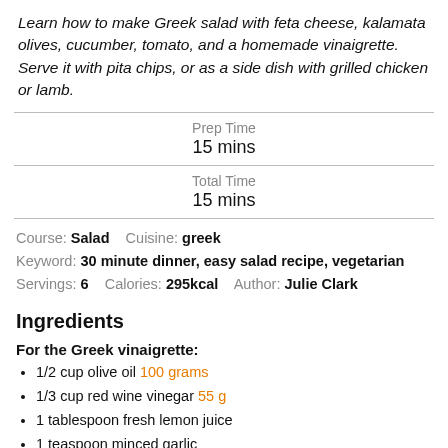Learn how to make Greek salad with feta cheese, kalamata olives, cucumber, tomato, and a homemade vinaigrette. Serve it with pita chips, or as a side dish with grilled chicken or lamb.
| Prep Time | 15 mins |
| Total Time | 15 mins |
Course: Salad    Cuisine: greek
Keyword: 30 minute dinner, easy salad recipe, vegetarian
Servings: 6    Calories: 295kcal    Author: Julie Clark
Ingredients
For the Greek vinaigrette:
1/2 cup olive oil 100 grams
1/3 cup red wine vinegar 55 g
1 tablespoon fresh lemon juice
1 teaspoon minced garlic
1/4 teaspoon salt